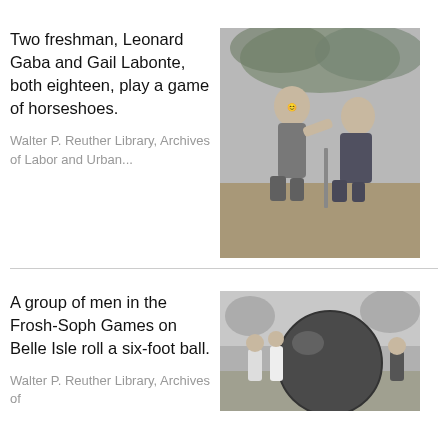Two freshman, Leonard Gaba and Gail Labonte, both eighteen, play a game of horseshoes.
Walter P. Reuther Library, Archives of Labor and Urban...
[Figure (photo): Black and white photo of two young people playing horseshoes outdoors, smiling at each other.]
A group of men in the Frosh-Soph Games on Belle Isle roll a six-foot ball.
Walter P. Reuther Library, Archives of